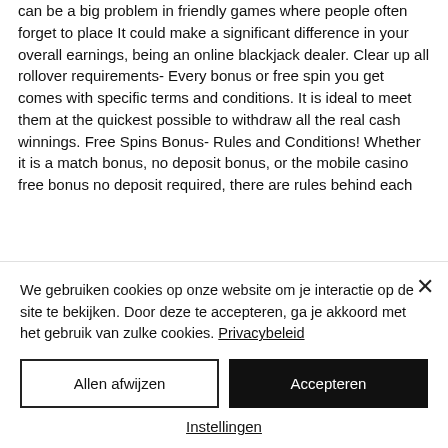can be a big problem in friendly games where people often forget to place It could make a significant difference in your overall earnings, being an online blackjack dealer. Clear up all rollover requirements- Every bonus or free spin you get comes with specific terms and conditions. It is ideal to meet them at the quickest possible to withdraw all the real cash winnings. Free Spins Bonus- Rules and Conditions! Whether it is a match bonus, no deposit bonus, or the mobile casino free bonus no deposit required, there are rules behind each
We gebruiken cookies op onze website om je interactie op de site te bekijken. Door deze te accepteren, ga je akkoord met het gebruik van zulke cookies. Privacybeleid
Allen afwijzen
Accepteren
Instellingen